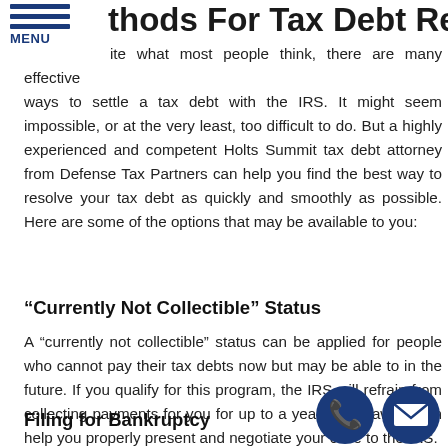…thods For Tax Debt Relief
Spite what most people think, there are many effective ways to settle a tax debt with the IRS. It might seem impossible, or at the very least, too difficult to do. But a highly experienced and competent Holts Summit tax debt attorney from Defense Tax Partners can help you find the best way to resolve your tax debt as quickly and smoothly as possible. Here are some of the options that may be available to you:
“Currently Not Collectible” Status
A “currently not collectible” status can be applied for people who cannot pay their tax debts now but may be able to in the future. If you qualify for this program, the IRS will refrain from collecting payments for you for up to a year. A tax lawyer can help you properly present and negotiate your case to the IRS.
Filing for Bankruptcy
[Figure (illustration): Phone icon: dark blue circle with white telephone handset symbol]
[Figure (illustration): Email icon: dark blue circle with white envelope symbol]